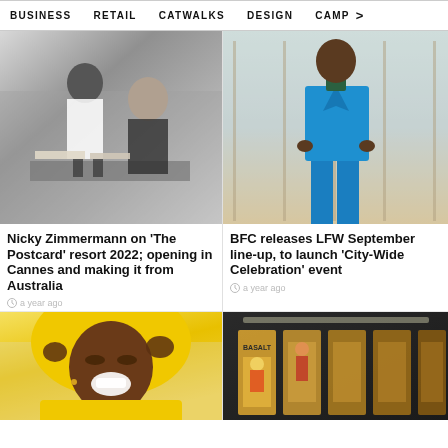BUSINESS   RETAIL   CATWALKS   DESIGN   CAMP >
[Figure (photo): Black and white photo of two women, Nicky Zimmermann, at a desk with papers]
Nicky Zimmermann on 'The Postcard' resort 2022; opening in Cannes and making it from Australia
a year ago
[Figure (photo): Person in a bright blue suit standing in front of glass windows]
BFC releases LFW September line-up, to launch 'City-Wide Celebration' event
a year ago
[Figure (photo): Person laughing wearing a bright yellow hood/hoodie]
[Figure (photo): Colourful retail store display with fashion items in cases]